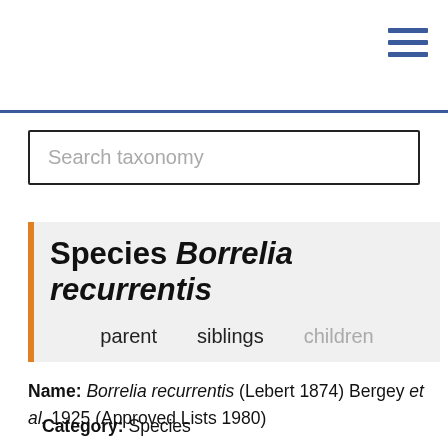Search taxonomy
Species Borrelia recurrentis
parent   siblings   children
Name: Borrelia recurrentis (Lebert 1874) Bergey et al. 1925 (Approved Lists 1980)
Category: Species
Proposed as: comb. nov.